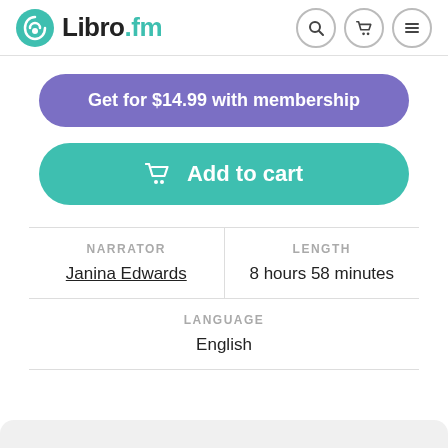Libro.fm
Get for $14.99 with membership
Add to cart
| NARRATOR | LENGTH |
| --- | --- |
| Janina Edwards | 8 hours 58 minutes |
| LANGUAGE |
| --- |
| English |